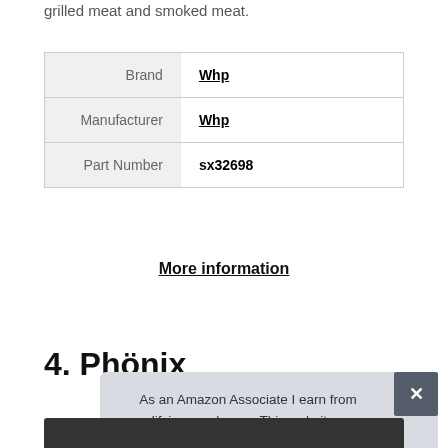grilled meat and smoked meat.
|  |  |
| --- | --- |
| Brand | Whp |
| Manufacturer | Whp |
| Part Number | sx32698 |
More information
4. Phönix
As an Amazon Associate I earn from qualifying purchases. This website uses the only necessary cookies to ensure you get the best experience on our website. More information